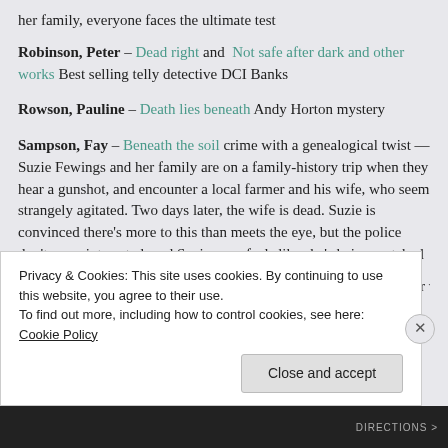her family, everyone faces the ultimate test
Robinson, Peter – Dead right and Not safe after dark and other works Best selling telly detective DCI Banks
Rowson, Pauline – Death lies beneath Andy Horton mystery
Sampson, Fay – Beneath the soil crime with a genealogical twist — Suzie Fewings and her family are on a family-history trip when they hear a gunshot, and encounter a local farmer and his wife, who seem strangely agitated. Two days later, the wife is dead. Suzie is convinced there's more to this than meets the eye, but the police don't seem interested, and Suzie soon feels like she's being watched
Turnbull, Peter– Denial of murder When the bodies of two murder victims...
Privacy & Cookies: This site uses cookies. By continuing to use this website, you agree to their use. To find out more, including how to control cookies, see here: Cookie Policy
Close and accept